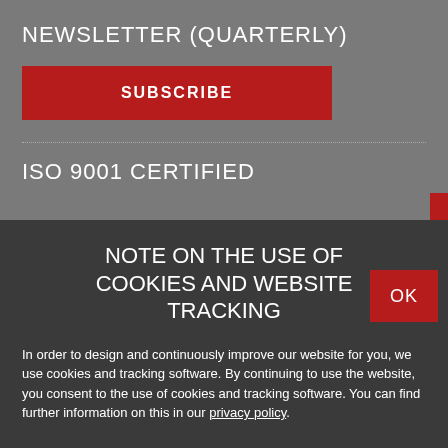NEWSLETTER (QUARTERLY)
SUBSCRIBE
ISO 9001 CERTIFIED
NOTE ON THE USE OF COOKIES AND WEBSITE TRACKING
OK
In order to design and continuously improve our website for you, we use cookies and tracking software. By continuing to use the website, you consent to the use of cookies and tracking software. You can find further information on this in our privacy policy.